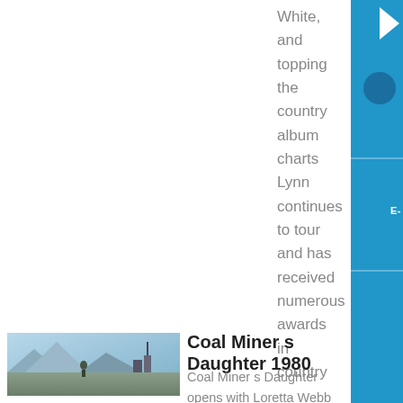White, and topping the country album charts Lynn continues to tour and has received numerous awards in country
....
Know More
[Figure (photo): Thumbnail photo showing a person near a coal mine or industrial setting outdoors]
Coal Miner s Daughter 1980
Coal Miner s Daughter opens with Loretta Webb Sissy Spacek riding a mule to the coal mine to meet her Daddy when he completes his shift As the opening credits continue, the film shows some coal miners deep in a Kentucky coal mine where one yells fire in the hole, which is followed by an explosion Then the film switches to Doolittle Lynn